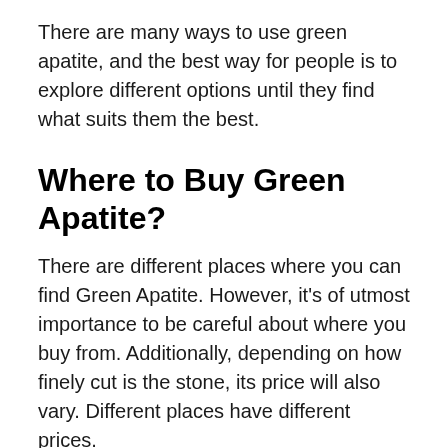There are many ways to use green apatite, and the best way for people is to explore different options until they find what suits them the best.
Where to Buy Green Apatite?
There are different places where you can find Green Apatite. However, it's of utmost importance to be careful about where you buy from. Additionally, depending on how finely cut is the stone, its price will also vary. Different places have different prices.
Etsy and Amazon have stores selling Apatite